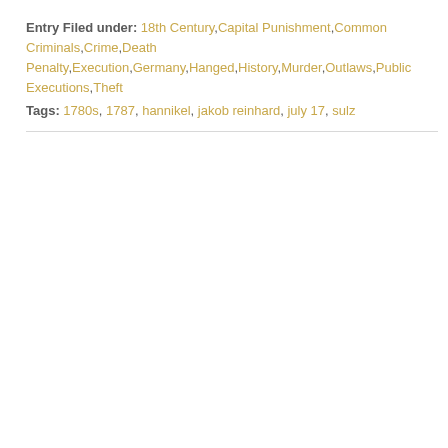Entry Filed under: 18th Century,Capital Punishment,Common Criminals,Crime,Death Penalty,Execution,Germany,Hanged,History,Murder,Outlaws,Public Executions,Theft
Tags: 1780s, 1787, hannikel, jakob reinhard, july 17, sulz